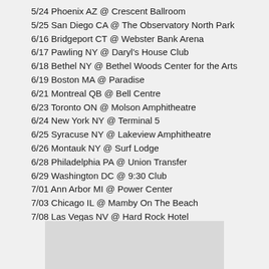5/24 Phoenix AZ @ Crescent Ballroom
5/25 San Diego CA @ The Observatory North Park
6/16 Bridgeport CT @ Webster Bank Arena
6/17 Pawling NY @ Daryl's House Club
6/18 Bethel NY @ Bethel Woods Center for the Arts
6/19 Boston MA @ Paradise
6/21 Montreal QB @ Bell Centre
6/23 Toronto ON @ Molson Amphitheatre
6/24 New York NY @ Terminal 5
6/25 Syracuse NY @ Lakeview Amphitheatre
6/26 Montauk NY @ Surf Lodge
6/28 Philadelphia PA @ Union Transfer
6/29 Washington DC @ 9:30 Club
7/01 Ann Arbor MI @ Power Center
7/03 Chicago IL @ Mamby On The Beach
7/08 Las Vegas NV @ Hard Rock Hotel